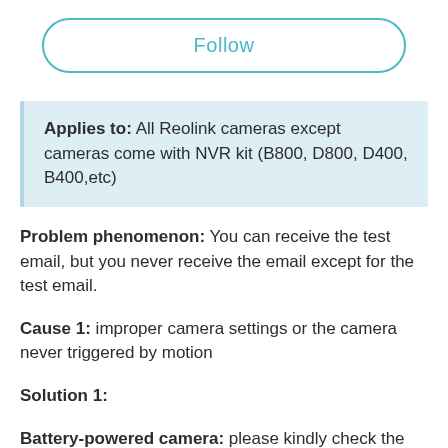[Figure (other): Follow button — rounded rectangle outline in teal/blue with 'Follow' text in teal]
Applies to: All Reolink cameras except cameras come with NVR kit (B800, D800, D400, B400,etc)
Problem phenomenon: You can receive the test email, but you never receive the email except for the test email.
Cause 1: improper camera settings or the camera never triggered by motion
Solution 1:
Battery-powered camera: please kindly check the camera PIR is enabled, the PIR schedule is 7/24 and